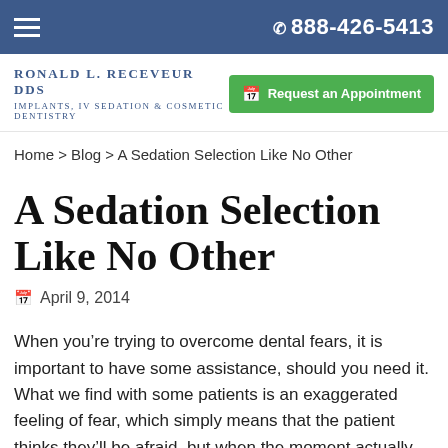☰  888-426-5413
Ronald L. Receveur DDS
Implants, IV Sedation & Cosmetic Dentistry
Request an Appointment
Home > Blog > A Sedation Selection Like No Other
A Sedation Selection Like No Other
April 9, 2014
When you’re trying to overcome dental fears, it is important to have some assistance, should you need it. What we find with some patients is an exaggerated feeling of fear, which simply means that the patient thinks they’ll be afraid, but when the moment actually